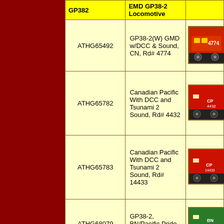| GP382 (header partial) | EMD GP38-2 Locomotive (header partial) | Image |
| --- | --- | --- |
| ATHG65492 | GP38-2(W) GMD w/DCC & Sound, CN, Rd# 4774 | [image] |
| ATHG65782 | Canadian Pacific With DCC and Tsunami 2 Sound, Rd# 4432 | [image] |
| ATHG65783 | Canadian Pacific With DCC and Tsunami 2 Sound, Rd# 14433 | [image] |
| ATHG68079 | GP38-2, BN/Pacific Pride II, Rd# 2085 | [image] |